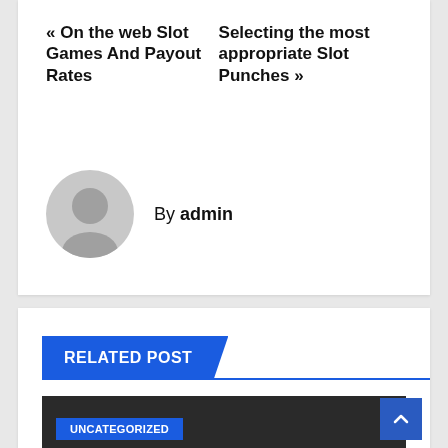« On the web Slot Games And Payout Rates
Selecting the most appropriate Slot Punches »
By admin
RELATED POST
[Figure (photo): Dark image placeholder for related post thumbnail with UNCATEGORIZED badge]